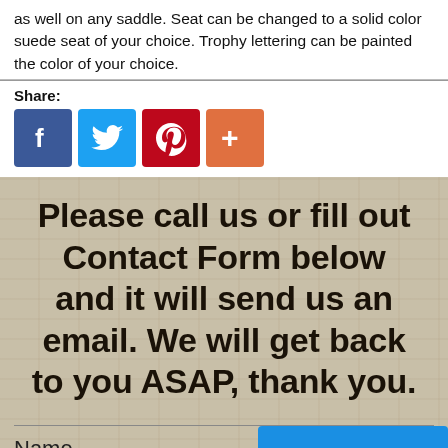as well on any saddle. Seat can be changed to a solid color suede seat of your choice. Trophy lettering can be painted the color of your choice.
Share:
[Figure (infographic): Social share buttons: Facebook (blue), Twitter (light blue), Pinterest (red), Plus/More (orange)]
Please call us or fill out Contact Form below and it will send us an email. We will get back to you ASAP, thank you.
Name
[Figure (infographic): Blue 'Message Us' button with messenger lightning bolt icon]